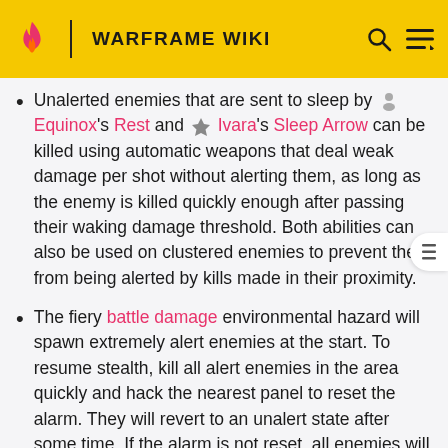WARFRAME WIKI
Unalerted enemies that are sent to sleep by Equinox's Rest and Ivara's Sleep Arrow can be killed using automatic weapons that deal weak damage per shot without alerting them, as long as the enemy is killed quickly enough after passing their waking damage threshold. Both abilities can also be used on clustered enemies to prevent them from being alerted by kills made in their proximity.
The fiery battle damage environmental hazard will spawn extremely alert enemies at the start. To resume stealth, kill all alert enemies in the area quickly and hack the nearest panel to reset the alarm. They will revert to an unalert state after some time. If the alarm is not reset, all enemies will spawn in the alerted state.